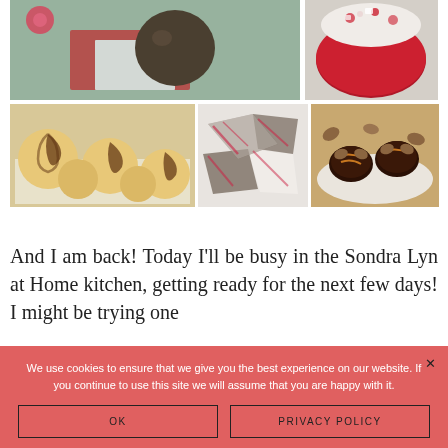[Figure (photo): Collage of five food/dessert photos: chocolate truffle ball, red velvet cake, swirl cookies, peppermint bark, and pecan turtles]
And I am back! Today I'll be busy in the Sondra Lyn at Home kitchen, getting ready for the next few days! I might be trying one
We use cookies to ensure that we give you the best experience on our website. If you continue to use this site we will assume that you are happy with it.
OK
PRIVACY POLICY